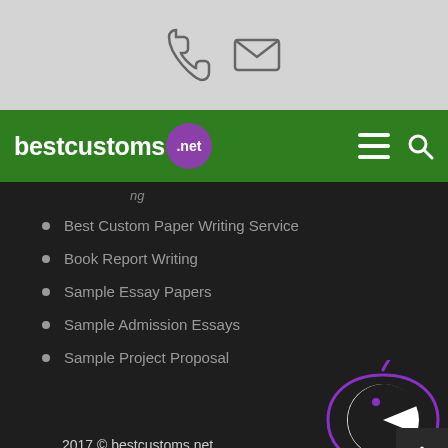[Figure (logo): Phone and email icons on light gray header bar]
[Figure (logo): bestcustoms.net green navigation bar with logo, hamburger menu and search icon]
Best Custom Paper Writing Service
Book Report Writing
Sample Essay Papers
Sample Admission Essays
Sample Project Proposal
2017 © bestcustoms.net
[Figure (logo): Purple pac-man style icon with circular arrow in bottom right]